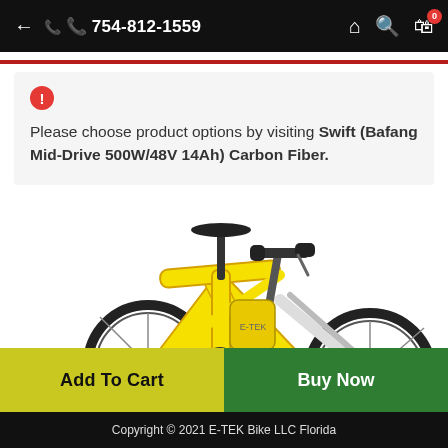← 📞 754-812-1559  🏠 🔍 🛒 0
Please choose product options by visiting Swift (Bafang Mid-Drive 500W/48V 14Ah) Carbon Fiber.
[Figure (photo): Yellow electric mountain bike with black saddle, wide tires, handlebars with controls, and front fork suspension visible on white background.]
Add To Cart
Buy Now
Copyright © 2021 E-TEK Bike LLC Florida